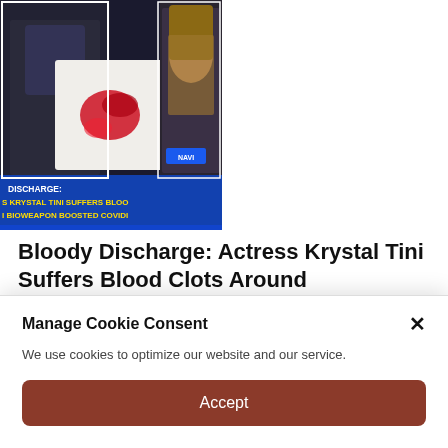[Figure (screenshot): Video thumbnail showing a news headline overlay: 'DISCHARGE: S KRYSTAL TINI SUFFERS BLOO I BIOWEAPON BOOSTED COVIDI' with images of a person and a woman, on dark blue background]
Bloody Discharge: Actress Krystal Tini Suffers Blood Clots Around Bioweapon Boosted Covidians
TruthPeep   January 6, 2022
Manage Cookie Consent
We use cookies to optimize our website and our service.
Accept